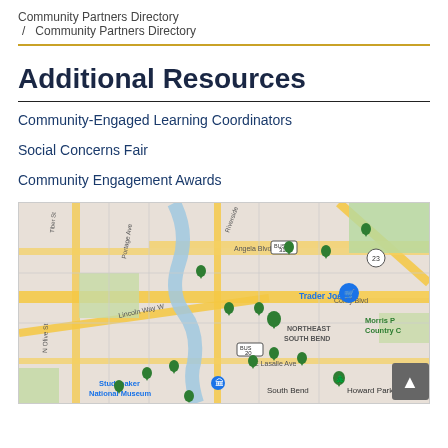Community Partners Directory / Community Partners Directory
Additional Resources
Community-Engaged Learning Coordinators
Social Concerns Fair
Community Engagement Awards
[Figure (map): Google Maps view of South Bend, Indiana showing multiple green location pins for community partners, with labels including Trader Joe's, Northeast South Bend, Studebaker National Museum, Howard Park, Morris P Country C, E Angela Blvd, Lincoln Way W, Corby Blvd, E Lasalle Ave, Angela Blvd, Portage Ave, N Olive St. Bus routes 31 and 20 are marked. The map shows streets, a river, and green park areas.]